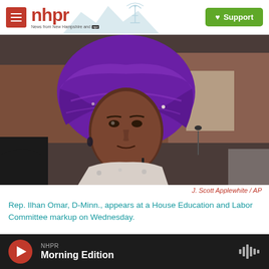nhpr — News from New Hampshire and NPR | Support
[Figure (photo): Rep. Ilhan Omar wearing a purple hijab, seated at a House committee hearing, looking to the side. Background shows committee seating area.]
J. Scott Applewhite / AP
Rep. Ilhan Omar, D-Minn., appears at a House Education and Labor Committee markup on Wednesday.
NHPR Morning Edition (audio player bar)